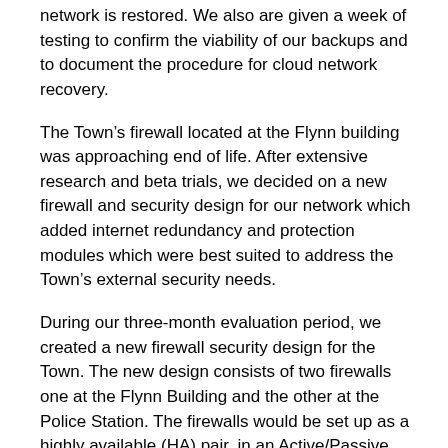network is restored. We also are given a week of testing to confirm the viability of our backups and to document the procedure for cloud network recovery.
The Town's firewall located at the Flynn building was approaching end of life. After extensive research and beta trials, we decided on a new firewall and security design for our network which added internet redundancy and protection modules which were best suited to address the Town's external security needs.
During our three-month evaluation period, we created a new firewall security design for the Town. The new design consists of two firewalls one at the Flynn Building and the other at the Police Station. The firewalls would be set up as a highly available (HA) pair, in an Active/Passive deployment. If the primary firewall at the Flynn building fails, the traffic will automatically failover to the secondary firewall located at the Police Station, providing maximum availability.